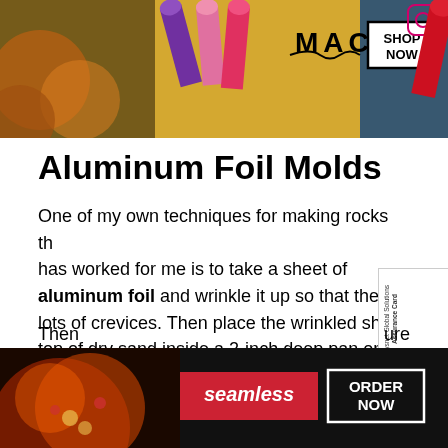[Figure (photo): MAC cosmetics banner advertisement showing lipsticks in purple, pink, and hot pink colors with MAC logo, SHOP NOW button, and Instagram icon]
Aluminum Foil Molds
One of my own techniques for making rocks that has worked for me is to take a sheet of aluminum foil and wrinkle it up so that there are lots of crevices. Then place the wrinkled sheet on top of dry sand inside a 2-inch deep pan or box. You can shape the sand and foil inside the pan whatever way you want so that the completed mold will be curved or rounded, rectangular or any other shape or size that you wish.
[Figure (screenshot): Sysnet Global Solutions Assurance Card popup widget on right side with orange arrow button]
CLOSE
[Figure (photo): Seamless food delivery advertisement showing pizza with red SEAMLESS button and ORDER NOW box]
Then
ure